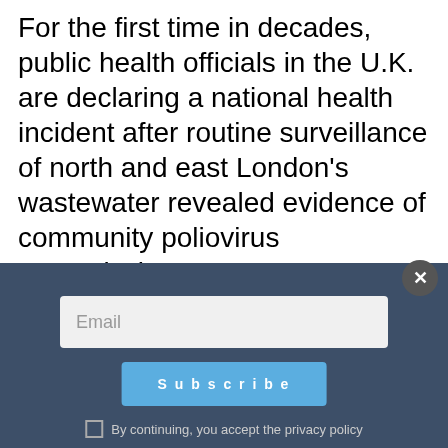For the first time in decades, public health officials in the U.K. are declaring a national health incident after routine surveillance of north and east London's wastewater revealed evidence of community poliovirus transmission.
Originally appeared on Newsmax Read More [external link]
[Figure (screenshot): Advertisement area showing a dark blue/grey box with WordPress logo on the left and a 'Reader' button on the right, on a dark background. Below it is a subscribe overlay with an email input field, a Subscribe button, a privacy policy checkbox, and a close (X) button.]